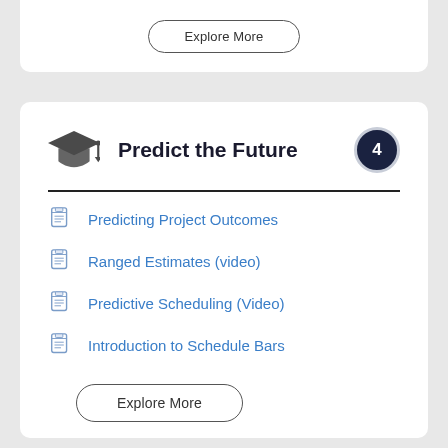[Figure (other): Explore More button (top card, cropped)]
Predict the Future
Predicting Project Outcomes
Ranged Estimates (video)
Predictive Scheduling (Video)
Introduction to Schedule Bars
Explore More